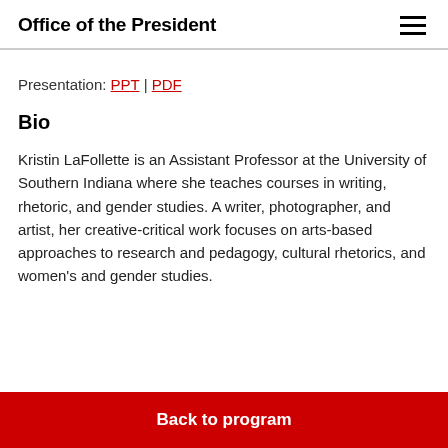Office of the President
Presentation: PPT | PDF
Bio
Kristin LaFollette is an Assistant Professor at the University of Southern Indiana where she teaches courses in writing, rhetoric, and gender studies. A writer, photographer, and artist, her creative-critical work focuses on arts-based approaches to research and pedagogy, cultural rhetorics, and women's and gender studies.
Back to program